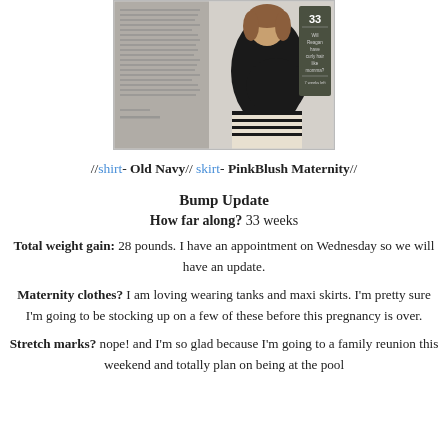[Figure (photo): Pregnant woman at 33 weeks wearing black tank top and black/white patterned skirt, next to a chalkboard sign reading '33 Will Reagan have curly hair like momma? 7 weeks left', with a journal/letter on the left side]
//shirt- Old Navy// skirt- PinkBlush Maternity//
Bump Update
How far along? 33 weeks
Total weight gain: 28 pounds. I have an appointment on Wednesday so we will have an update.
Maternity clothes? I am loving wearing tanks and maxi skirts. I'm pretty sure I'm going to be stocking up on a few of these before this pregnancy is over.
Stretch marks? nope! and I'm so glad because I'm going to a family reunion this weekend and totally plan on being at the pool